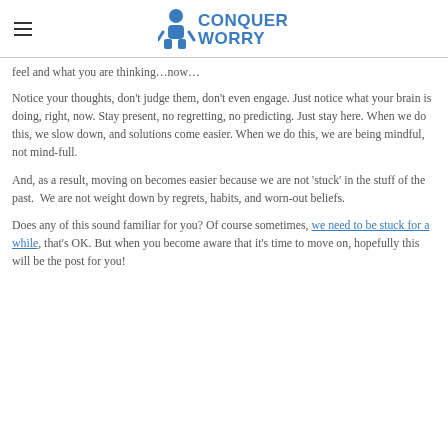Conquer Worry
feel and what you are thinking…now…
Notice your thoughts, don't judge them, don't even engage. Just notice what your brain is doing, right, now. Stay present, no regretting, no predicting. Just stay here. When we do this, we slow down, and solutions come easier. When we do this, we are being mindful, not mind-full.
And, as a result, moving on becomes easier because we are not 'stuck' in the stuff of the past.  We are not weight down by regrets, habits, and worn-out beliefs.
Does any of this sound familiar for you? Of course sometimes, we need to be stuck for a while, that's OK. But when you become aware that it's time to move on, hopefully this will be the post for you!